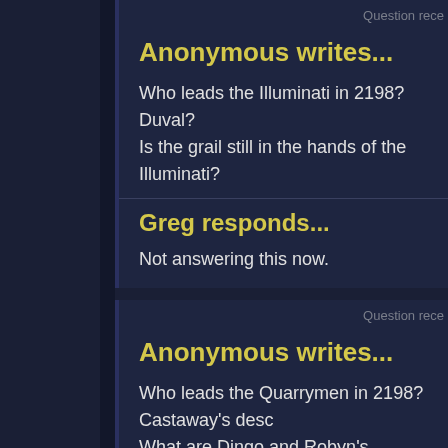Question rece
Anonymous writes...
Who leads the Illuminati in 2198? Duval?
Is the grail still in the hands of the Illuminati?
Greg responds...
Not answering this now.
Question rece
Anonymous writes...
Who leads the Quarrymen in 2198? Castaway's desc
What are Dingo and Robyn's descendents doing?
Greg responds...
Stuff.